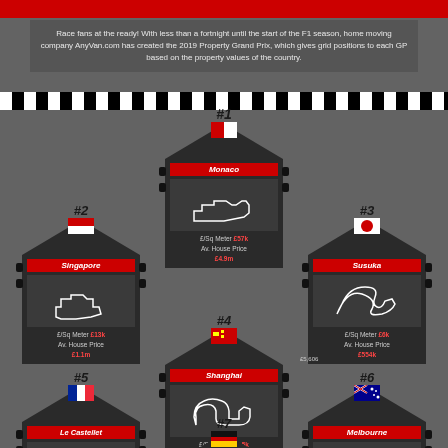Race fans at the ready! With less than a fortnight until the start of the F1 season, home moving company AnyVan.com has created the 2019 Property Grand Prix, which gives grid positions to each GP based on the property values of the country.
[Figure (infographic): F1 Property Grand Prix infographic showing race tracks as house-shaped cards ranked by property value. #1 Monaco £/Sq Meter £57k Av. House Price £4.9m, #2 Singapore £/Sq Meter £13k Av. House Price £1.1m, #3 Susuka £/Sq Meter £6k Av. House Price £554k, #4 Shanghai £/Sq Meter £5.5k Av. House Price £493k, #5 Le Castellet £/Sq Meter £5.3k Av. House Price £468k, #6 Melbourne £/Sq Meter £4.2k Av. House Price £370k, #7 Hockenheim (partial), #8 (partial), #9 (partial)]